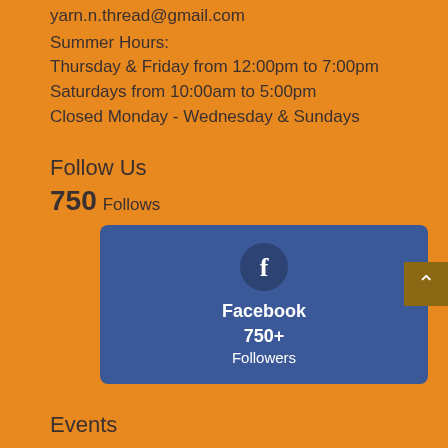yarn.n.thread@gmail.com
Summer Hours:
Thursday & Friday from 12:00pm to 7:00pm
Saturdays from 10:00am to 5:00pm
Closed Monday - Wednesday & Sundays
Follow Us
750  Follows
[Figure (infographic): Facebook social media widget card showing blue background with Facebook 'f' icon in a dark circle, text 'Facebook', '750+', 'Followers']
Events
No events